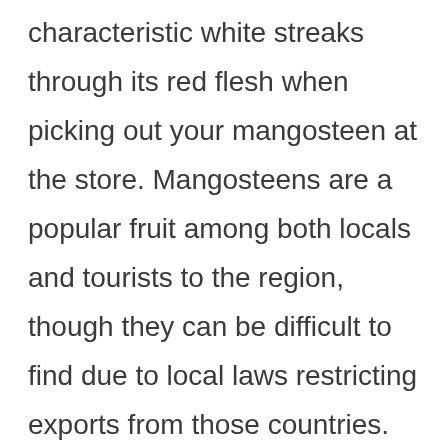characteristic white streaks through its red flesh when picking out your mangosteen at the store. Mangosteens are a popular fruit among both locals and tourists to the region, though they can be difficult to find due to local laws restricting exports from those countries. Mangosteens taste different for everyone; some people describe the flavor as being sour or astringent while others experience sweetness with a hint